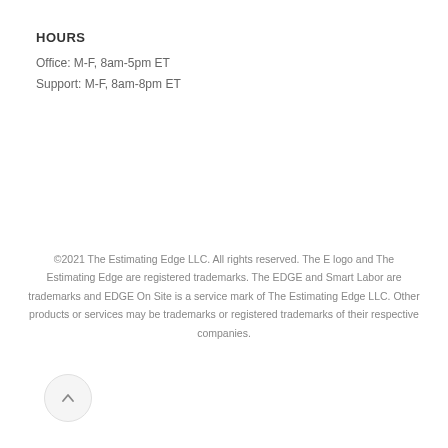HOURS
Office: M-F, 8am-5pm ET
Support: M-F, 8am-8pm ET
©2021 The Estimating Edge LLC. All rights reserved. The E logo and The Estimating Edge are registered trademarks. The EDGE and Smart Labor are trademarks and EDGE On Site is a service mark of The Estimating Edge LLC. Other products or services may be trademarks or registered trademarks of their respective companies.